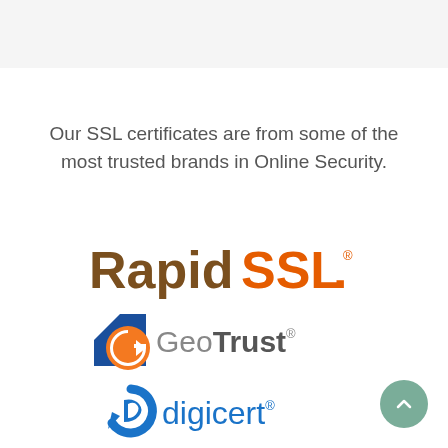Our SSL certificates are from some of the most trusted brands in Online Security.
[Figure (logo): RapidSSL logo — 'Rapid' in brown/dark-gold bold font, 'SSL.' in orange bold font with registered trademark symbol]
[Figure (logo): GeoTrust logo — blue square with white corner, orange circle with white arrow G icon, 'GeoTrust' text in gray with registered trademark symbol]
[Figure (logo): DigiCert logo — blue stylized D/G circular arrow icon, 'digicert' in blue text with registered trademark symbol]